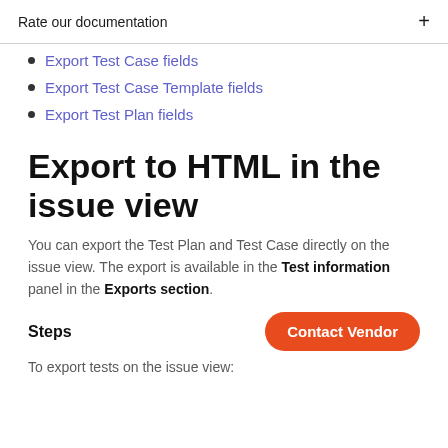Rate our documentation  +
Export Test Case fields
Export Test Case Template fields
Export Test Plan fields
Export to HTML in the issue view
You can export the Test Plan and Test Case directly on the issue view. The export is available in the Test information panel in the Exports section.
Steps
To export tests on the issue view: